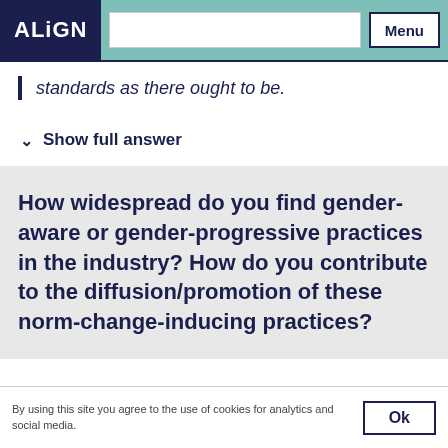ALiGN | Menu
standards as there ought to be.
Show full answer
How widespread do you find gender-aware or gender-progressive practices in the industry? How do you contribute to the diffusion/promotion of these norm-change-inducing practices?
By using this site you agree to the use of cookies for analytics and social media.